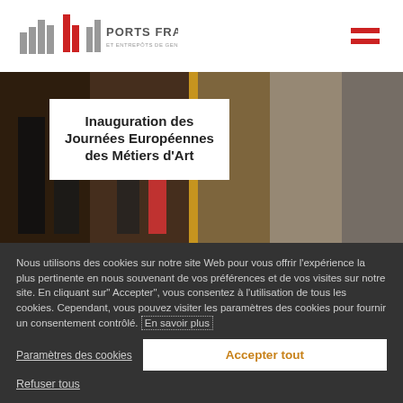[Figure (logo): Ports Francs et Entrepôts de Genève SA logo with grey bar chart icon and red vertical bars]
[Figure (photo): Photograph of people at an event, partial view, dark tones]
Inauguration des Journées Européennes des Métiers d'Art
Nous utilisons des cookies sur notre site Web pour vous offrir l'expérience la plus pertinente en nous souvenant de vos préférences et de vos visites sur notre site. En cliquant sur" Accepter", vous consentez à l'utilisation de tous les cookies. Cependant, vous pouvez visiter les paramètres des cookies pour fournir un consentement contrôlé. En savoir plus
Paramètres des cookies
Accepter tout
Refuser tous